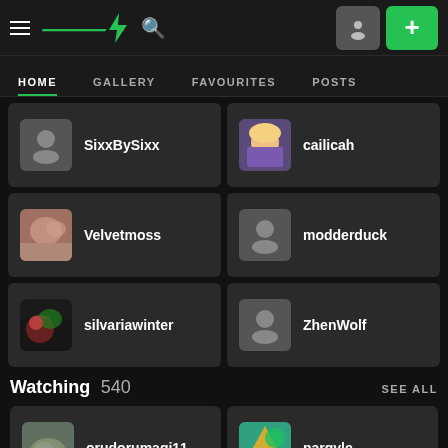DeviantArt navigation bar with HOME, GALLERY, FAVOURITES, POSTS tabs
SixxBySixx
cailicah
Velvetmoss
modderduck
silvariawinter
ZhenWolf
Watching 540
SEE ALL
orudorumagi11
nargyle